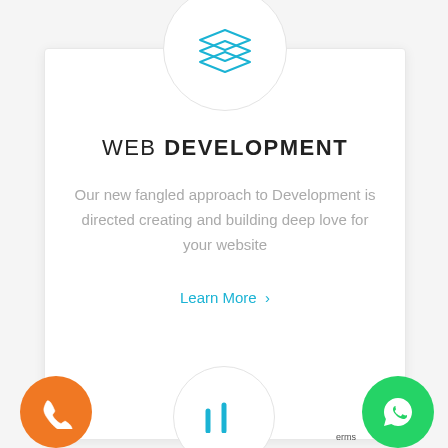[Figure (illustration): Circular icon with stacked layers symbol in cyan/blue color on white circle with light border]
WEB DEVELOPMENT
Our new fangled approach to Development is directed creating and building deep love for your website
Learn More >
[Figure (illustration): Orange circle button with phone/call icon]
[Figure (illustration): Green WhatsApp circle button with WhatsApp icon]
erms